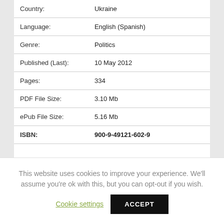| Field | Value |
| --- | --- |
| Country: | Ukraine |
| Language: | English (Spanish) |
| Genre: | Politics |
| Published (Last): | 10 May 2012 |
| Pages: | 334 |
| PDF File Size: | 3.10 Mb |
| ePub File Size: | 5.16 Mb |
| ISBN: | 900-9-49121-602-9 |
This website uses cookies to improve your experience. We'll assume you're ok with this, but you can opt-out if you wish.
Cookie settings
ACCEPT